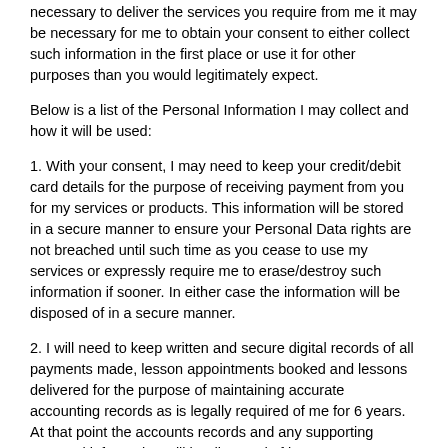necessary to deliver the services you require from me it may be necessary for me to obtain your consent to either collect such information in the first place or use it for other purposes than you would legitimately expect.
Below is a list of the Personal Information I may collect and how it will be used:
1. With your consent, I may need to keep your credit/debit card details for the purpose of receiving payment from you for my services or products. This information will be stored in a secure manner to ensure your Personal Data rights are not breached until such time as you cease to use my services or expressly require me to erase/destroy such information if sooner. In either case the information will be disposed of in a secure manner.
2. I will need to keep written and secure digital records of all payments made, lesson appointments booked and lessons delivered for the purpose of maintaining accurate accounting records as is legally required of me for 6 years. At that point the accounts records and any supporting personal information will be disposed of in a secure manner. This information will be held in my paper-based/digital diary, your LDC Workbook if provided, my paperbased Student Record System, my accounts sales day book